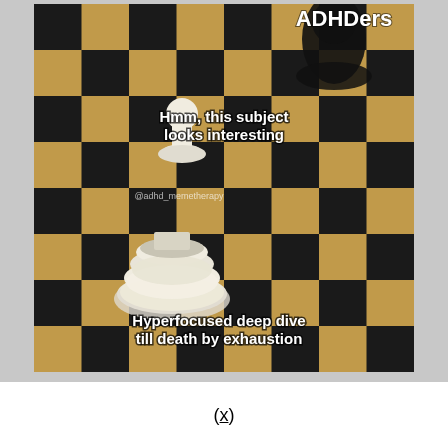[Figure (photo): A chess meme about ADHDers. Shows a chessboard with a white pawn labeled 'Hmm, this subject looks interesting' and a broken/flattened white rook at the bottom labeled 'Hyperfocused deep dive till death by exhaustion'. A black knight is visible in the top right. Watermark reads '@adhd_memetherapy'. The text 'ADHDers' appears in bold white at the top right.]
(x)